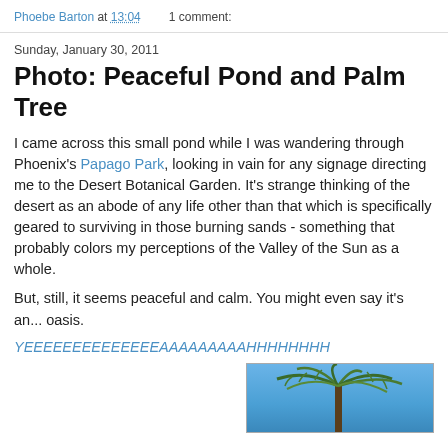Phoebe Barton at 13:04    1 comment:
Sunday, January 30, 2011
Photo: Peaceful Pond and Palm Tree
I came across this small pond while I was wandering through Phoenix's Papago Park, looking in vain for any signage directing me to the Desert Botanical Garden. It's strange thinking of the desert as an abode of any life other than that which is specifically geared to surviving in those burning sands - something that probably colors my perceptions of the Valley of the Sun as a whole.
But, still, it seems peaceful and calm. You might even say it's an... oasis.
YEEEEEEEEEEEEEEAAAAAAAAAHHHHHHHH
[Figure (photo): Photo of palm tree fronds against a blue sky]